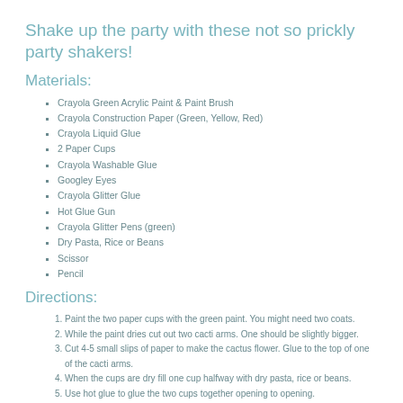Shake up the party with these not so prickly party shakers!
Materials:
Crayola Green Acrylic Paint & Paint Brush
Crayola Construction Paper (Green, Yellow, Red)
Crayola Liquid Glue
2 Paper Cups
Crayola Washable Glue
Googley Eyes
Crayola Glitter Glue
Hot Glue Gun
Crayola Glitter Pens (green)
Dry Pasta, Rice or Beans
Scissor
Pencil
Directions:
Paint the two paper cups with the green paint. You might need two coats.
While the paint dries cut out two cacti arms. One should be slightly bigger.
Cut 4-5 small slips of paper to make the cactus flower. Glue to the top of one of the cacti arms.
When the cups are dry fill one cup halfway with dry pasta, rice or beans.
Use hot glue to glue the two cups together opening to opening.
Glue the cacti arms to the sides of the of them...